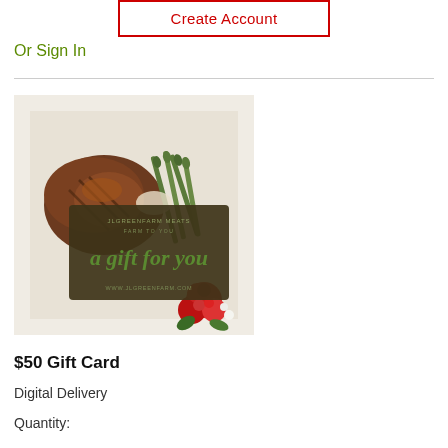Create Account
Or Sign In
[Figure (photo): Product image of a plated meal with grilled meat and asparagus on a white plate with red flowers, overlaid with a dark gift card graphic reading 'a gift for you' and 'FARM TO YOU' and 'www.jlgreenfarm.com']
$50 Gift Card
Digital Delivery
Quantity: